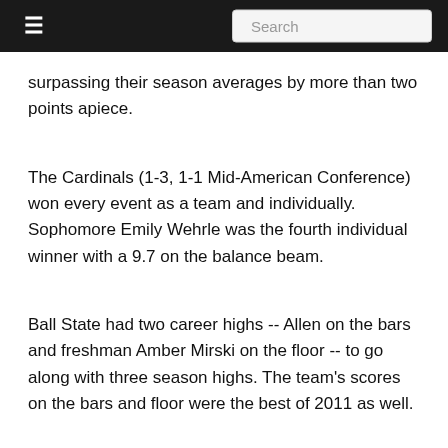≡  Search
surpassing their season averages by more than two points apiece.
The Cardinals (1-3, 1-1 Mid-American Conference) won every event as a team and individually. Sophomore Emily Wehrle was the fourth individual winner with a 9.7 on the balance beam.
Ball State had two career highs -- Allen on the bars and freshman Amber Mirski on the floor -- to go along with three season highs. The team's scores on the bars and floor were the best of 2011 as well.